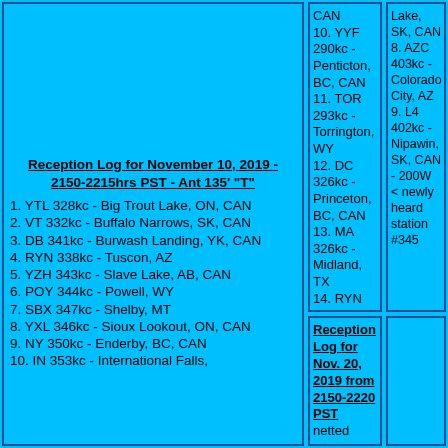Reception Log for November 10, 2019 - 2150-2215hrs PST - Ant 135' "T"
1. YTL 328kc - Big Trout Lake, ON, CAN
2. VT 332kc - Buffalo Narrows, SK, CAN
3. DB 341kc - Burwash Landing, YK, CAN
4. RYN 338kc - Tuscon, AZ
5. YZH 343kc - Slave Lake, AB, CAN
6. POY 344kc - Powell, WY
7. SBX 347kc - Shelby, MT
8. YXL 346kc - Sioux Lookout, ON, CAN
9. NY 350kc - Enderby, BC, CAN
10. IN 353kc - International Falls,
CAN
10. YYF 290kc - Penticton, BC, CAN
11. TOR 293kc - Torrington, WY
12. DC 326kc - Princeton, BC, CAN
13. MA 326kc - Midland, TX
14. RYN 338kc - Tuscon, AZ
Lake, SK, CAN
8. AZC 403kc - Colorado City, AZ
9. L4 402kc - Nipawin, SK, CAN - 200W < newly heard station #345
Reception Log for Nov. 20, 2019 from 2150-2220 PST netted